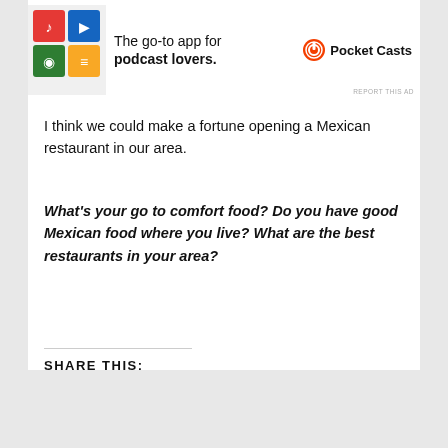[Figure (illustration): Pocket Casts advertisement banner showing colorful app icon tiles and text 'The go-to app for podcast lovers.' with Pocket Casts logo]
I think we could make a fortune opening a Mexican restaurant in our area.
What's your go to comfort food? Do you have good Mexican food where you live? What are the best restaurants in your area?
SHARE THIS:
Print  Email  Share  Tweet
LIKE THIS:
Advertisements